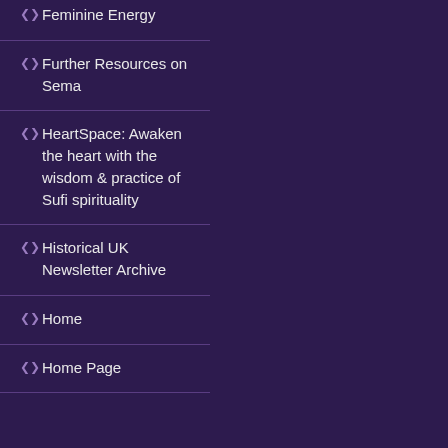Feminine Energy
Further Resources on Sema
HeartSpace: Awaken the heart with the wisdom & practice of Sufi spirituality
Historical UK Newsletter Archive
Home
Home Page